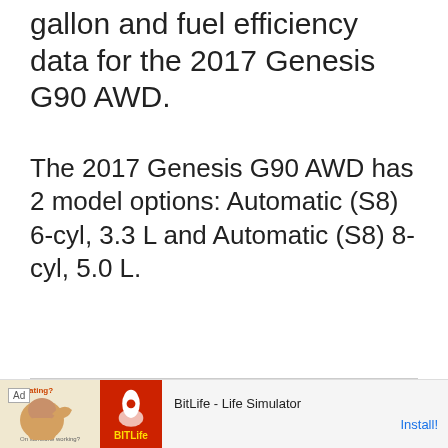gallon and fuel efficiency data for the 2017 Genesis G90 AWD.
The 2017 Genesis G90 AWD has 2 model options: Automatic (S8) 6-cyl, 3.3 L and Automatic (S8) 8-cyl, 5.0 L.
[Figure (screenshot): Video player showing error message: The video cannot be played in this browser. (Error Code: 242632)]
[Figure (screenshot): Advertisement banner for BitLife - Life Simulator app with Install button]